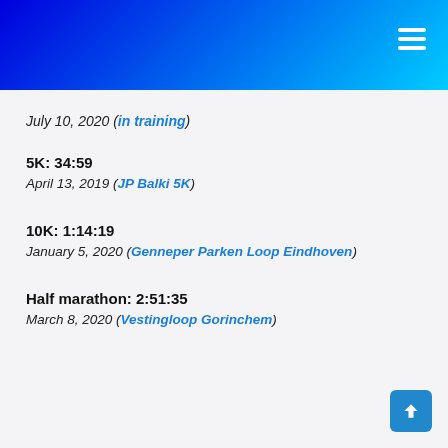Header banner with hamburger menu
July 10, 2020 (in training)
5K: 34:59
April 13, 2019 (JP Balki 5K)
10K: 1:14:19
January 5, 2020 (Genneper Parken Loop Eindhoven)
Half marathon: 2:51:35
March 8, 2020 (Vestingloop Gorinchem)